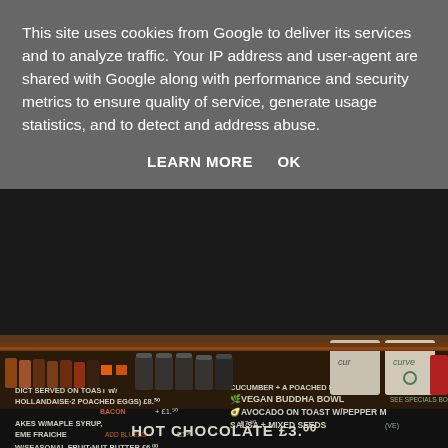[Figure (photo): Photo of a cafe or coffee shop interior showing a dark chalkboard menu on the wall with handwritten menu items including 'VEGAN BUDDHA BOWL', 'AVOCADO ON TOAST W/PEPPER', 'SALSA + MIXED SEEDS (VE)', 'HOT CHOCOLATE £3.00', and other items with prices in GBP. Below the chalkboard is a wooden shelf lined with small jars, tins, and two 'curve' branded coffee bags. The overall scene is dark and moody.]
This site uses cookies from Google to deliver its services and to analyze traffic. Your IP address and user-agent are shared with Google along with performance and security metrics to ensure quality of service, generate usage statistics, and to detect and address abuse.
LEARN MORE   OK